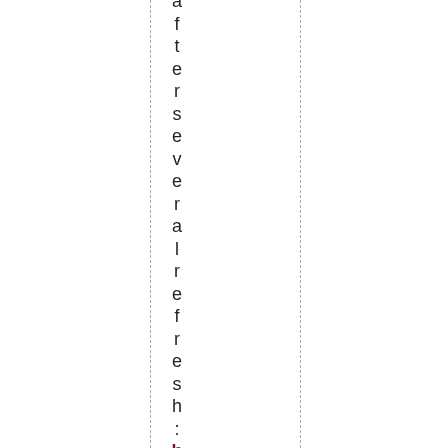after several refresh: http://www